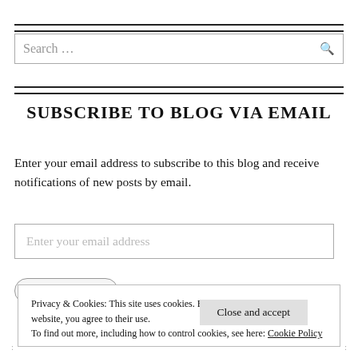Search ...
SUBSCRIBE TO BLOG VIA EMAIL
Enter your email address to subscribe to this blog and receive notifications of new posts by email.
Enter your email address
Privacy & Cookies: This site uses cookies. By continuing to use this website, you agree to their use.
To find out more, including how to control cookies, see here: Cookie Policy
Close and accept